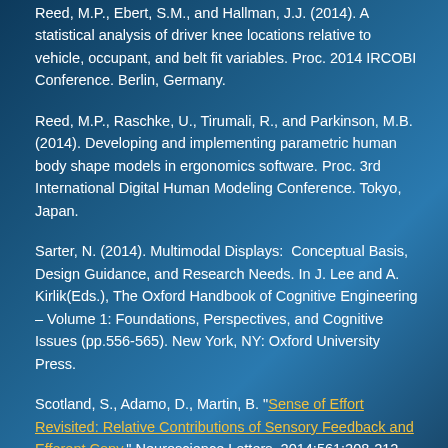Reed, M.P., Ebert, S.M., and Hallman, J.J. (2014). A statistical analysis of driver knee locations relative to vehicle, occupant, and belt fit variables. Proc. 2014 IRCOBI Conference. Berlin, Germany.
Reed, M.P., Raschke, U., Tirumali, R., and Parkinson, M.B. (2014). Developing and implementing parametric human body shape models in ergonomics software. Proc. 3rd International Digital Human Modeling Conference. Tokyo, Japan.
Sarter, N. (2014). Multimodal Displays:  Conceptual Basis, Design Guidance, and Research Needs. In J. Lee and A. Kirlik(Eds.), The Oxford Handbook of Cognitive Engineering – Volume 1: Foundations, Perspectives, and Cognitive Issues (pp.556-565). New York, NY: Oxford University Press.
Scotland, S., Adamo, D., Martin, B. "Sense of Effort Revisited: Relative Contributions of Sensory Feedback and Efferent Copy," Neuroscience Letters, 2014;561:208-212.
Seo, J., Han, S., Lee, S., Armstrong, T. "Feasibility of On-Site